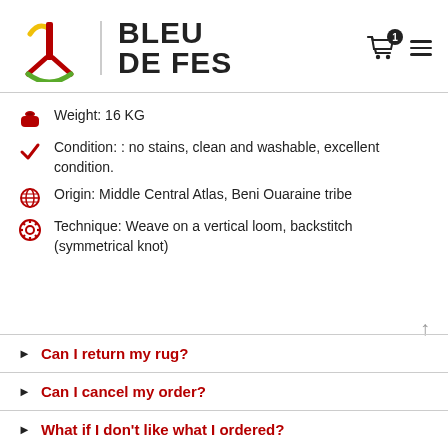BLEU DE FES
Weight: 16 KG
Condition: : no stains, clean and washable, excellent condition.
Origin: Middle Central Atlas, Beni Ouaraine tribe
Technique: Weave on a vertical loom, backstitch (symmetrical knot)
Can I return my rug?
Can I cancel my order?
What if I don't like what I ordered?